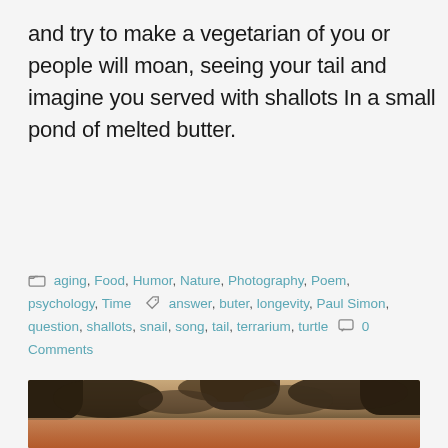and try to make a vegetarian of you or people will moan, seeing your tail and imagine you served with shallots In a small pond of melted butter.
aging, Food, Humor, Nature, Photography, Poem, psychology, Time  answer, buter, longevity, Paul Simon, question, shallots, snail, song, tail, terrarium, turtle  0 Comments
[Figure (photo): Sunset sky photograph with dark dramatic clouds and warm orange-golden sky glow below]